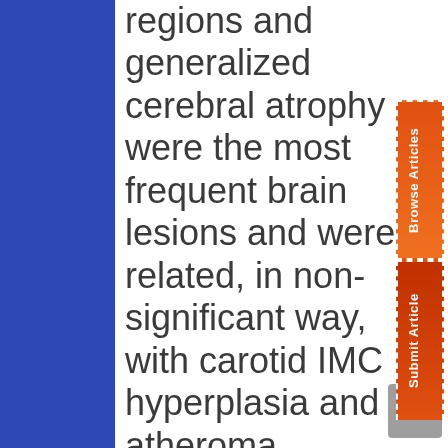regions and generalized cerebral atrophy were the most frequent brain lesions and were related, in non-significant way, with carotid IMC hyperplasia and atheroma plaques. Age significantly influenced the appearance of intra and extracerebral